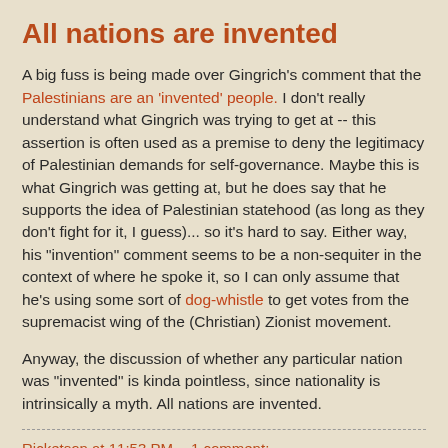All nations are invented
A big fuss is being made over Gingrich's comment that the Palestinians are an 'invented' people. I don't really understand what Gingrich was trying to get at -- this assertion is often used as a premise to deny the legitimacy of Palestinian demands for self-governance. Maybe this is what Gingrich was getting at, but he does say that he supports the idea of Palestinian statehood (as long as they don't fight for it, I guess)... so it's hard to say. Either way, his "invention" comment seems to be a non-sequiter in the context of where he spoke it, so I can only assume that he's using some sort of dog-whistle to get votes from the supremacist wing of the (Christian) Zionist movement.
Anyway, the discussion of whether any particular nation was "invented" is kinda pointless, since nationality is intrinsically a myth. All nations are invented.
Ricketson at 11:53 PM    1 comment: